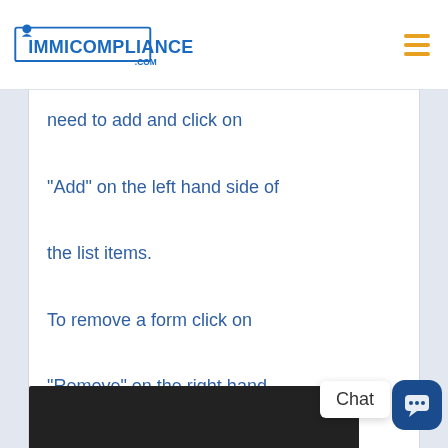IMMICOMPLIANCE.COM
need to add and click on "Add" on the left hand side of the list items. To remove a form click on "Remove" on the right hand side list of items.
[Figure (screenshot): Dark screenshot area at the bottom of the content panel]